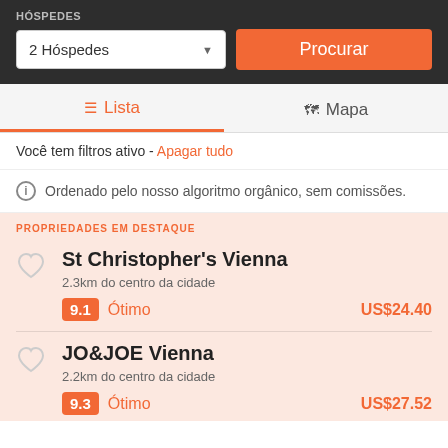HÓSPEDES
2 Hóspedes
Procurar
Lista
Mapa
Você tem filtros ativo - Apagar tudo
Ordenado pelo nosso algoritmo orgânico, sem comissões.
PROPRIEDADES EM DESTAQUE
St Christopher's Vienna
2.3km do centro da cidade
9.1  Ótimo   US$24.40
JO&JOE Vienna
2.2km do centro da cidade
9.3  Ótimo   US$27.52